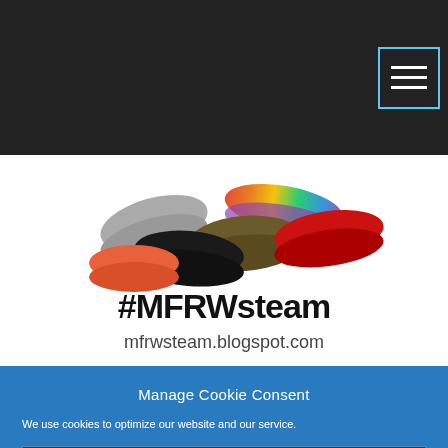[Figure (logo): #MFRWsteam logo with colorful lip prints and text '#MFRWsteam mfrwsteam.blogspot.com']
Manage Cookie Consent
We use cookies to optimize our website and our service.
All cookies
Deny
Cookie policy